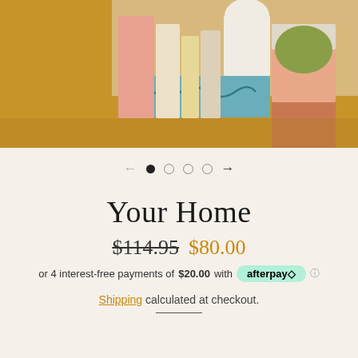[Figure (photo): Colorful wooden building blocks arranged in an arc on a golden/amber background. Blocks include teal wave-patterned piece, pink, salmon, beige, cream, and olive green arch shapes.]
[Figure (other): Carousel navigation with left arrow, filled dot, three empty dots, and right arrow]
Your Home
$114.95  $80.00
or 4 interest-free payments of $20.00 with afterpay
Shipping calculated at checkout.